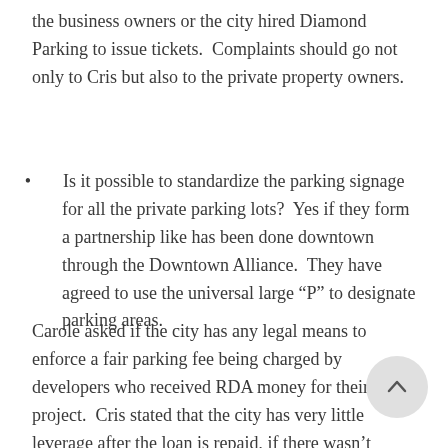the business owners or the city hired Diamond Parking to issue tickets.  Complaints should go not only to Cris but also to the private property owners.
Is it possible to standardize the parking signage for all the private parking lots?  Yes if they form a partnership like has been done downtown through the Downtown Alliance.  They have agreed to use the universal large “P” to designate parking areas.
Carole asked if the city has any legal means to enforce a fair parking fee being charged by developers who received RDA money for their project.  Cris stated that the city has very little leverage after the loan is repaid, if there wasn’t something specific in the contract between the RDA and the